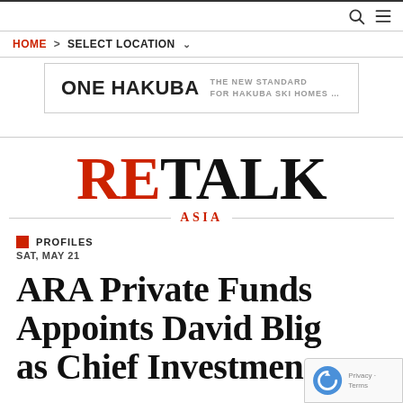HOME > SELECT LOCATION
[Figure (other): ONE HAKUBA advertisement banner — THE NEW STANDARD FOR HAKUBA SKI HOMES …]
RETALK ASIA
PROFILES
SAT, MAY 21
ARA Private Funds Appoints David Blig as Chief Investment